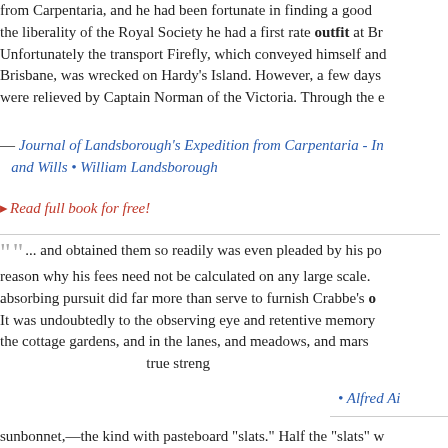from Carpentaria, and he had been fortunate in finding a good ... the liberality of the Royal Society he had a first rate outfit at B... Unfortunately the transport Firefly, which conveyed himself and... Brisbane, was wrecked on Hardy's Island. However, a few days... were relieved by Captain Norman of the Victoria. Through the e...
— Journal of Landsborough's Expedition from Carpentaria - In... and Wills • William Landsborough
▸ Read full book for free!
""... and obtained them so readily was even pleaded by his po... reason why his fees need not be calculated on any large scale.... absorbing pursuit did far more than serve to furnish Crabbe's o... It was undoubtedly to the observing eye and retentive memory ... the cottage gardens, and in the lanes, and meadows, and mars... true streng...
• Alfred Ai...
This website uses cookies to ensure you get the best experience on our website. Learn more
Got it!
r mother's sunbonnet,—the kind with pasteboard "slats." Half the "slats" w...